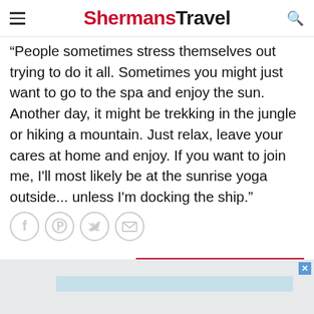ShermansTravel
"People sometimes stress themselves out trying to do it all. Sometimes you might just want to go to the spa and enjoy the sun. Another day, it might be trekking in the jungle or hiking a mountain. Just relax, leave your cares at home and enjoy. If you want to join me, I'll most likely be at the sunrise yoga outside... unless I'm docking the ship."
[Figure (other): Social sharing icons: Facebook, Pinterest, Twitter, Email]
SEE NEXT ARTICLE >
[Figure (other): Advertisement banner at bottom of page with close X button]